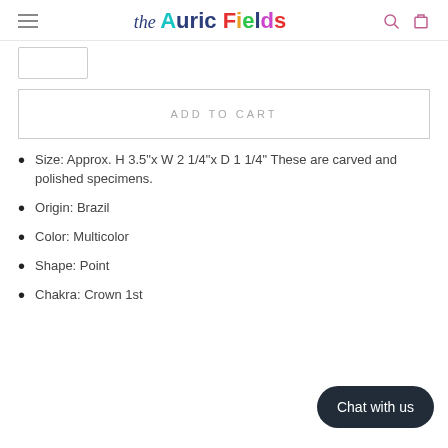the Auric Fields
[Figure (other): Thumbnail image placeholder box]
ADD TO CART
Size: Approx. H 3.5"x W 2 1/4"x D 1 1/4" These are carved and polished specimens.
Origin: Brazil
Color: Multicolor
Shape: Point
Chakra: Crown 1st